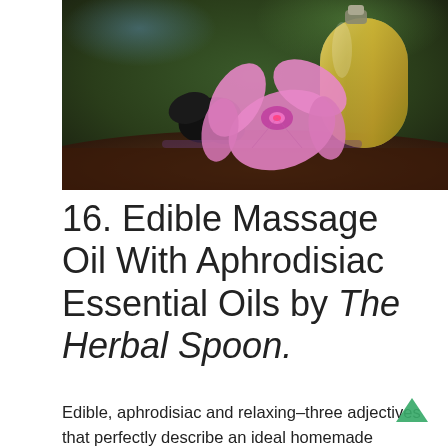[Figure (photo): Photo showing a glass bottle of golden massage oil, a pink orchid flower, and dark massage stones arranged on a dark surface with blurred green background.]
16. Edible Massage Oil With Aphrodisiac Essential Oils by The Herbal Spoon.
Edible, aphrodisiac and relaxing–three adjectives that perfectly describe an ideal homemade massage oil. The Herbal Spoon provides exactly this kind of